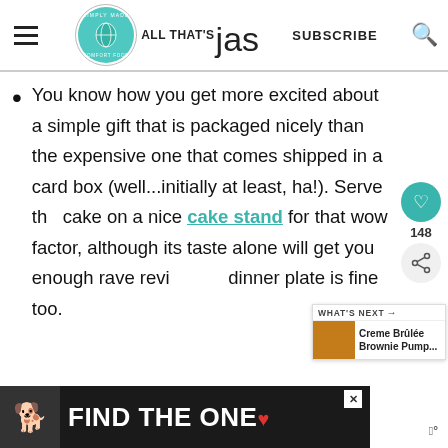ALL THAT'S jas — SUBSCRIBE
You know how you get more excited about a simple gift that is packaged nicely than the expensive one that comes shipped in a card box (well...initially at least, ha!). Serve the cake on a nice cake stand for that wow factor, although its taste alone will get you enough rave reviews. A dinner plate is fine too.
[Figure (other): FIND THE ONE advertisement banner with dog image]
[Figure (other): What's Next panel: Creme Brûlée Brownie Pump...]